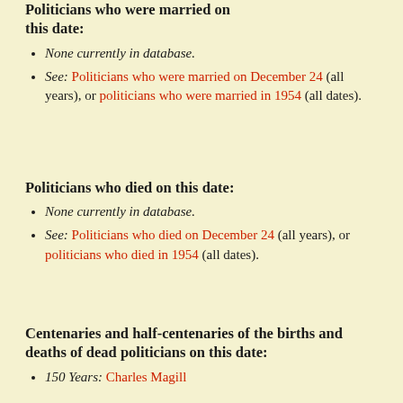Politicians who were married on this date:
None currently in database.
See: Politicians who were married on December 24 (all years), or politicians who were married in 1954 (all dates).
Politicians who died on this date:
None currently in database.
See: Politicians who died on December 24 (all years), or politicians who died in 1954 (all dates).
Centenaries and half-centenaries of the births and deaths of dead politicians on this date:
150 Years: Charles Magill